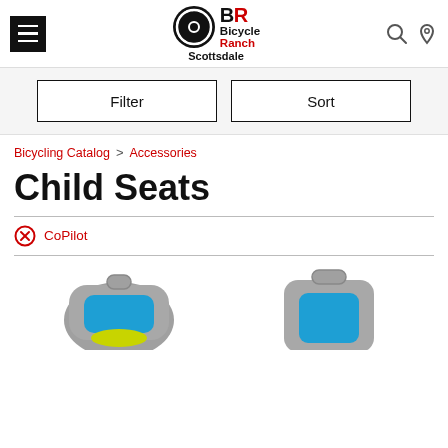Bicycle Ranch Scottsdale — navigation header with hamburger menu, logo, search and location icons
Filter | Sort
Bicycling Catalog > Accessories
Child Seats
⊗ CoPilot
[Figure (photo): Two child bicycle seats (grey with blue padding) partially visible at bottom of page]